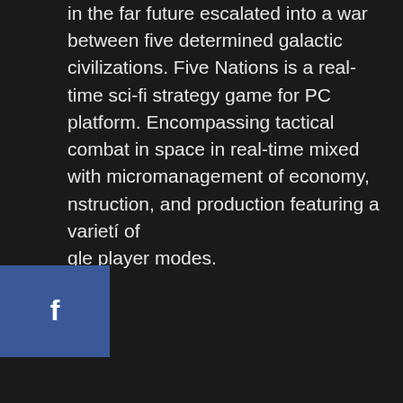in the far future escalated into a war between five determined galactic civilizations. Five Nations is a real-time sci-fi strategy game for PC platform. Encompassing tactical combat in space in real-time mixed with micromanagement of economy, nstruction, and production featuring a varietí of gle player modes.
[Figure (other): Facebook share button (blue sidebar button with 'f' icon)]
[Figure (other): Twitter share button (light blue sidebar button with bird icon)]
[Figure (other): Reddit share button (orange sidebar button with Reddit alien icon)]
Mostrar más
Capturas
[Figure (photo): Grey placeholder image area for game screenshots]